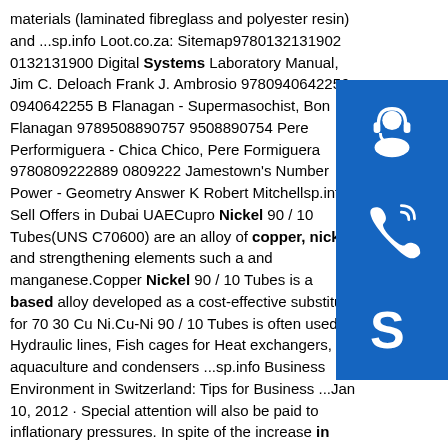materials (laminated fibreglass and polyester resin) and ...sp.info Loot.co.za: Sitemap9780132131902 0132131900 Digital Systems Laboratory Manual, Jim C. Deloach Frank J. Ambrosio 9780940642256 0940642255 B Flanagan - Supermasochist, Bon Flanagan 9789508890757 9508890754 Pere Performiguera - Chica Chico, Pere Formiguera 9780809222889 0809222 Jamestown's Number Power - Geometry Answer K Robert Mitchellsp.info Sell Offers in Dubai UAECupro Nickel 90 / 10 Tubes(UNS C70600) are an alloy of copper, nickel and strengthening elements such a and manganese.Copper Nickel 90 / 10 Tubes is a based alloy developed as a cost-effective substitute for 70 30 Cu Ni.Cu-Ni 90 / 10 Tubes is often used in Hydraulic lines, Fish cages for Heat exchangers, aquaculture and condensers ...sp.info Business Environment in Switzerland: Tips for Business ...Jan 10, 2012 · Special attention will also be paid to inflationary pressures. In spite of the increase in unemployment due to the recession.
[Figure (illustration): Three blue icon boxes stacked vertically on right side: top has a headset/customer support icon, middle has a telephone icon, bottom has a Skype logo icon.]